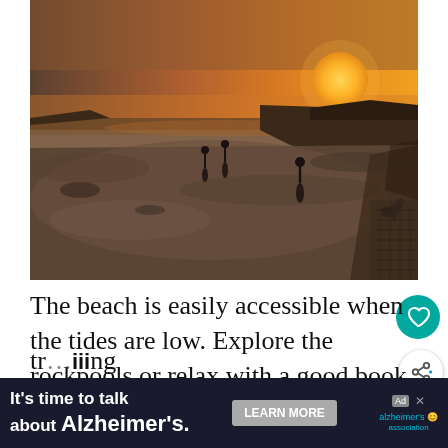[Figure (photo): Beach at low tide with sunset in background. Several people walking on wide sand flat. Rocky shoreline visible on right. Golden sun near horizon with orange and pink sky.]
The beach is easily accessible when the tides are low. Explore the rockpools or relax with a good book or even have a siesta. No tr...ing
It's time to talk about Alzheimer's. LEARN MORE